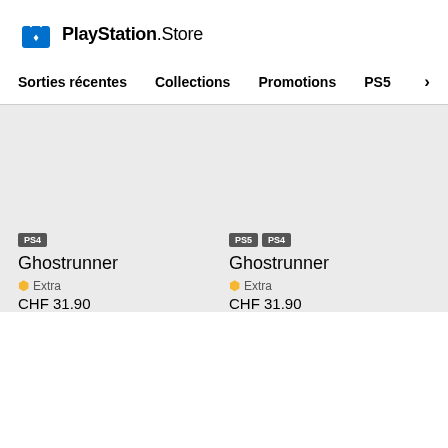PlayStation Store
Sorties récentes   Collections   Promotions   PS5   >
PS4
Ghostrunner
★ Extra
CHF 31.90
PS5  PS4
Ghostrunner
★ Extra
CHF 31.90